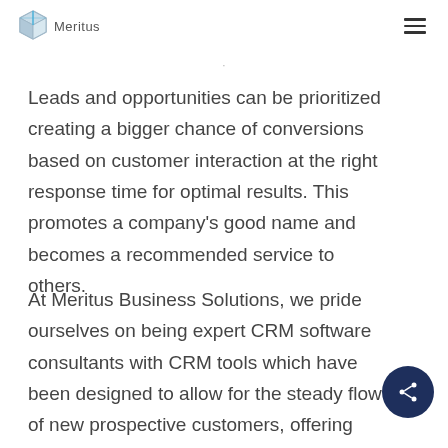Meritus
Leads and opportunities can be prioritized creating a bigger chance of conversions based on customer interaction at the right response time for optimal results. This promotes a company’s good name and becomes a recommended service to others.
At Meritus Business Solutions, we pride ourselves on being expert CRM software consultants with CRM tools which have been designed to allow for the steady flow of new prospective customers, offering improved